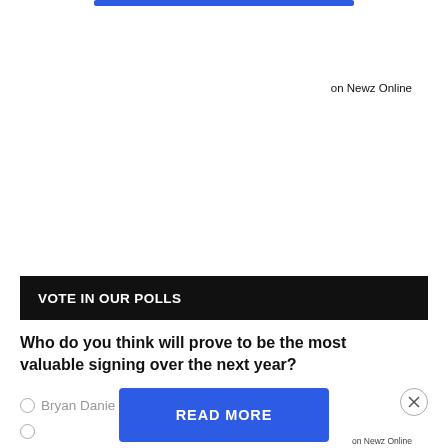[Figure (other): Blue banner/bar at top of page]
on Newz Online
VOTE IN OUR POLLS
Who do you think will prove to be the most valuable signing over the next year?
Bryan Danie...
[Figure (other): READ MORE button overlay (blue rectangle)]
on Newz Online